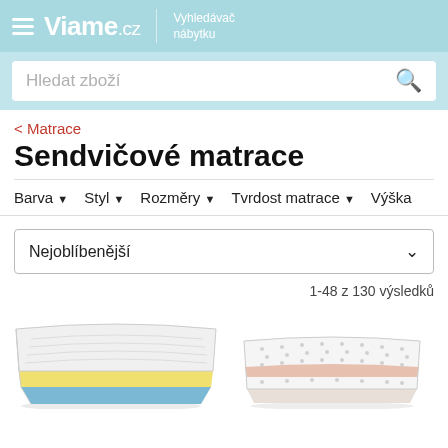Viame.cz Vyhledávač nábytku
Hledat zboží
< Matrace
Sendvičové matrace
Barva ▼   Styl ▼   Rozměry ▼   Tvrdost matrace ▼   Výška
Nejoblíbenější
1-48 z 130 výsledků
[Figure (photo): Sandwich mattress with yellow foam layer and blue base, white quilted cover, on white background]
[Figure (photo): White mattress with pink center layer and textured white cover showing foam pores, on white background]